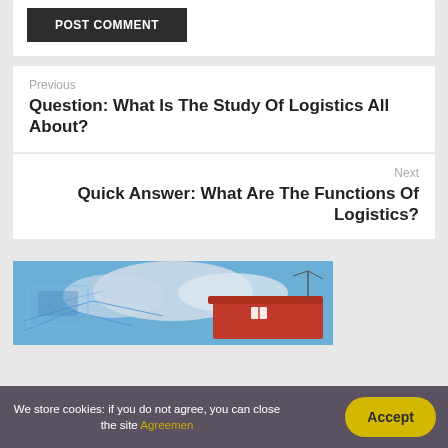POST COMMENT
Previous
Question: What Is The Study Of Logistics All About?
Next
Quick Answer: What Are The Functions Of Logistics?
[Figure (photo): A logistics/shipping photo showing a red ship and digital network overlay against a blue sky with clouds]
We store cookies: if you do not agree, you can close the site Agreemen
Accept